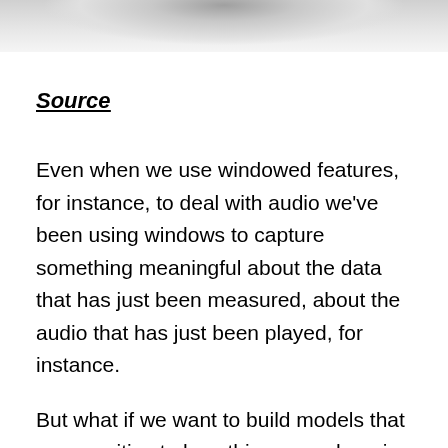[Figure (photo): Partial photograph visible at top of page, appears to be a blurred/cropped image in grayscale]
Source
Even when we use windowed features, for instance, to deal with audio we've been using windows to capture something meaningful about the data that has just been measured, about the audio that has just been played, for instance.
But what if we want to build models that are sensitive to how things are changing over time. If we are working with gestural inputs, we might want to build a classifier to recognize whether we've just drawn a clockwise circle in the air, or a